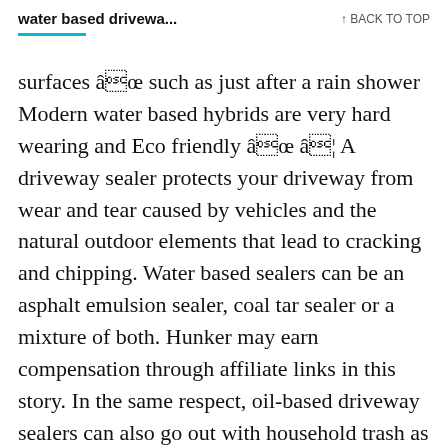water based drivewa... ↑ BACK TO TOP
surfaces â such as just after a rain shower Modern water based hybrids are very hard wearing and Eco friendly â â¦ A driveway sealer protects your driveway from wear and tear caused by vehicles and the natural outdoor elements that lead to cracking and chipping. Water based sealers can be an asphalt emulsion sealer, coal tar sealer or a mixture of both. Hunker may earn compensation through affiliate links in this story. In the same respect, oil-based driveway sealers can also go out with household trash as long as they are in a dry state. Is Asphalt Driveway Sealer Water based Or Oil Based?